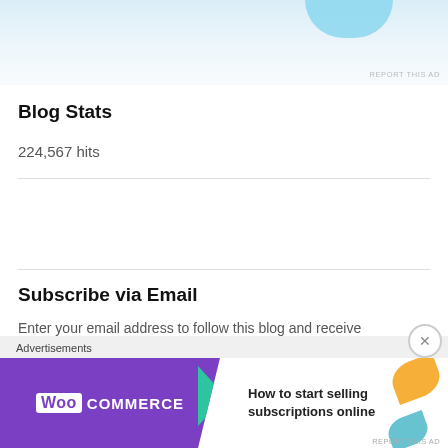[Figure (screenshot): Top portion of a website widget showing a light blue graph/chart area with a blob shape at the top and a 'REPORT THIS AD' link at the bottom right.]
Blog Stats
224,567 hits
Subscribe via Email
Enter your email address to follow this blog and receive notifications of new posts by email.
[Figure (screenshot): WooCommerce advertisement banner: purple left section with WooCommerce logo, teal arrow, and right section with text 'How to start selling subscriptions online' with orange and teal leaf decorations.]